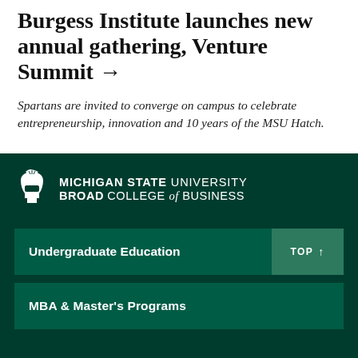Burgess Institute launches new annual gathering, Venture Summit →
Spartans are invited to converge on campus to celebrate entrepreneurship, innovation and 10 years of the MSU Hatch.
[Figure (logo): Michigan State University Broad College of Business logo with Spartan helmet icon]
Undergraduate Education
TOP ↑
MBA & Master's Programs